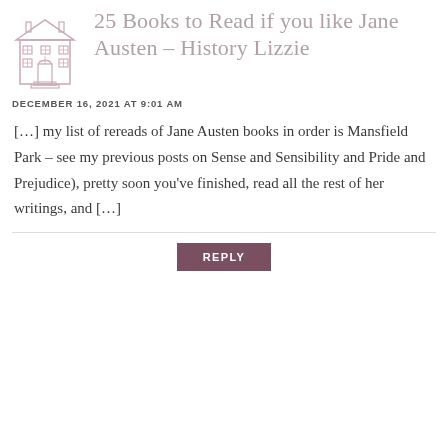[Figure (illustration): Small line-art illustration of a Georgian-style house/building in pinkish-grey tone]
25 Books to Read if you like Jane Austen – History Lizzie
DECEMBER 16, 2021 AT 9:01 AM
[…] my list of rereads of Jane Austen books in order is Mansfield Park – see my previous posts on Sense and Sensibility and Pride and Prejudice), pretty soon you've finished, read all the rest of her writings, and […]
REPLY